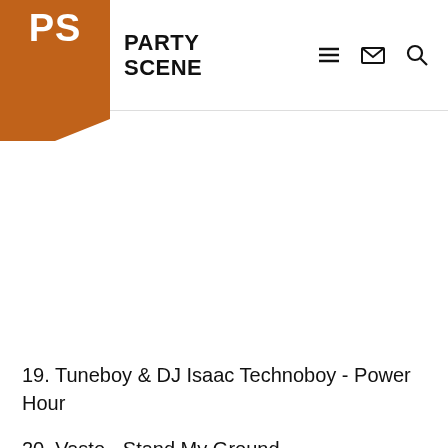[Figure (logo): Party Scene logo with orange PS badge and brand name]
19. Tuneboy & DJ Isaac Technoboy - Power Hour
20. Vasto - Stand My Ground
21. [partially visible, cut off]